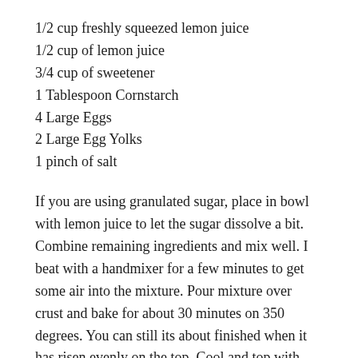1/2 cup freshly squeezed lemon juice
1/2 cup of lemon juice
3/4 cup of sweetener
1 Tablespoon Cornstarch
4 Large Eggs
2 Large Egg Yolks
1 pinch of salt
If you are using granulated sugar, place in bowl with lemon juice to let the sugar dissolve a bit. Combine remaining ingredients and mix well. I beat with a handmixer for a few minutes to get some air into the mixture. Pour mixture over crust and bake for about 30 minutes on 350 degrees. You can still its about finished when it has risen evenly on the top. Cool and top with powdered sweetener. Enjoy!